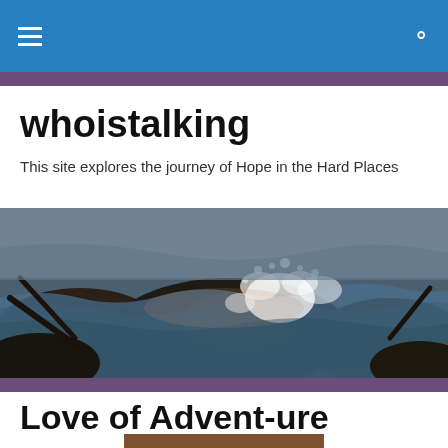Navigation bar with hamburger menu and search icon
whoistalking
This site explores the journey of Hope in the Hard Places
[Figure (photo): Ocean waves crashing over dark rocks with white spray, taken at dusk or dawn with warm light]
Love of Advent-ure
[Figure (photo): Partially visible thumbnail image with warm amber/brown tones at the bottom of the page]